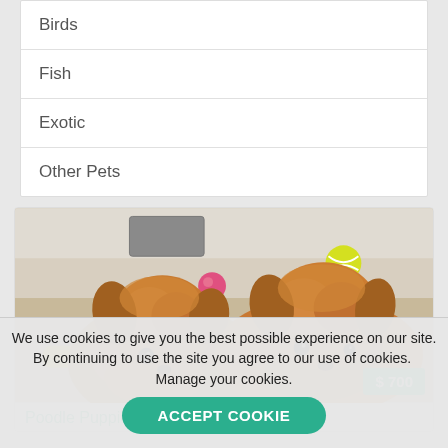Birds
Fish
Exotic
Other Pets
[Figure (photo): Two fluffy golden/caramel poodle puppies lying on a light-colored surface with colorful toy balls and other items around them. A teal price badge shows $700 in the bottom-right corner.]
Poodle Puppie
We use cookies to give you the best possible experience on our site. By continuing to use the site you agree to our use of cookies.  Manage your cookies.
ACCEPT COOKIE